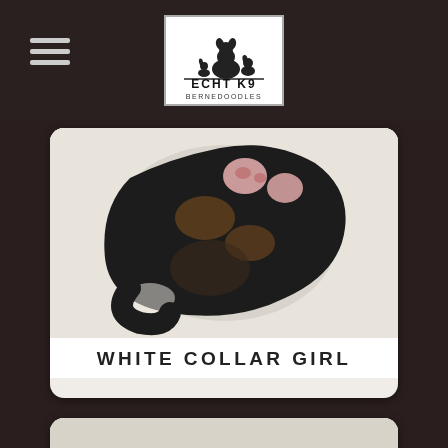ECHT K9 BERNEDOODLES
[Figure (photo): Newborn puppy curled up in a ball on a white surface, viewed from above. Black, brown and white coloring. Text below reads WHITE COLLAR GIRL.]
WHITE COLLAR GIRL
[Figure (photo): Puppy photographed from behind, showing black fur with white marking on top of head.]